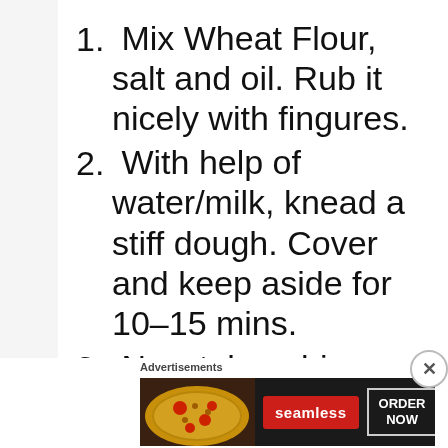1. Mix Wheat Flour, salt and oil. Rub it nicely with fingures.
2. With help of water/milk, knead a stiff dough. Cover and keep aside for 10-15 mins.
3. Now take a big portion
Advertisements
[Figure (screenshot): Seamless food delivery advertisement banner with pizza image, seamless brand name in red, and ORDER NOW button]